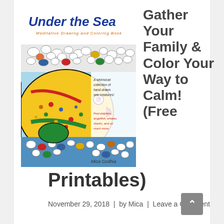[Figure (illustration): Book cover of 'Under the Sea: Meditative Drawing and Coloring Book' by Mica Godhia, featuring colorful hand-drawn sea creatures including a large yellow fish, with text 'A whimsical collection of hand-drawn sea creatures!' and 'Find dolphins, angelfish, whales, sharks, and so much more.']
Gather Your Family & Color Your Way to Calm! (Free Printables)
November 29, 2018 | by Mica | Leave a Comment
Life is so interesting and as the holidays are